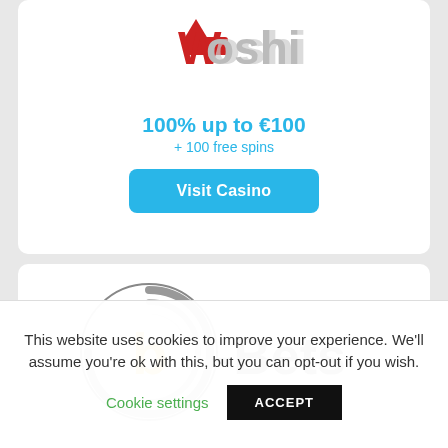[Figure (logo): Woshi casino logo with red crown and grey text]
100% up to €100
+ 100 free spins
Visit Casino
[Figure (logo): b-Bets logo with swirl circle and yellow b letter]
This website uses cookies to improve your experience. We'll assume you're ok with this, but you can opt-out if you wish.
Cookie settings
ACCEPT